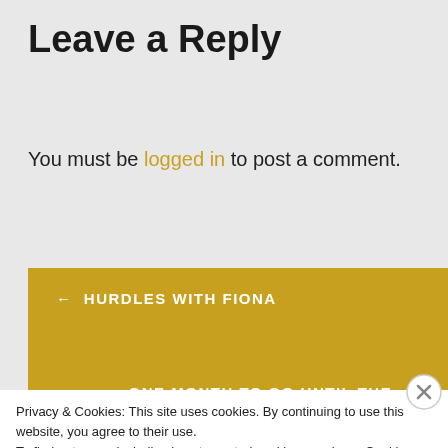Leave a Reply
You must be logged in to post a comment.
← HURDLES WITH FIONA
ONE MONTH TO GO UNTIL THE → LITTLE ASTON 5
Privacy & Cookies: This site uses cookies. By continuing to use this website, you agree to their use.
To find out more, including how to control cookies, see here: Cookie Policy
Close and accept